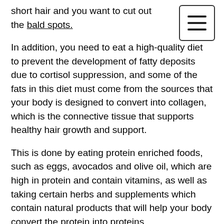short hair and you want to cut out the bald spots.
[Figure (other): Hamburger menu icon — three horizontal lines inside a rounded rectangle border]
In addition, you need to eat a high-quality diet to prevent the development of fatty deposits due to cortisol suppression, and some of the fats in this diet must come from the sources that your body is designed to convert into collagen, which is the connective tissue that supports healthy hair growth and support.
This is done by eating protein enriched foods, such as eggs, avocados and olive oil, which are high in protein and contain vitamins, as well as taking certain herbs and supplements which contain natural products that will help your body convert the protein into proteins.
The fat from the hair is also converted into